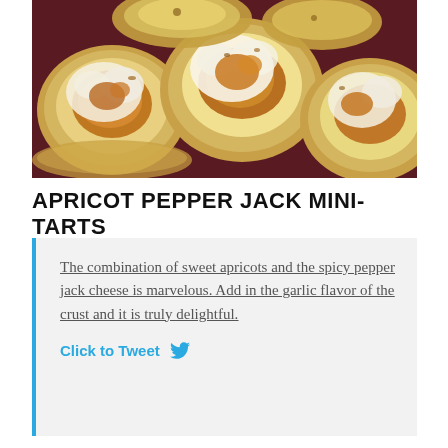[Figure (photo): Close-up photo of apricot pepper jack mini-tarts: small golden pastry cups filled with melted white cheese and amber apricot jam, arranged on a dark red surface.]
APRICOT PEPPER JACK MINI-TARTS
The combination of sweet apricots and the spicy pepper jack cheese is marvelous. Add in the garlic flavor of the crust and it is truly delightful.
Click to Tweet